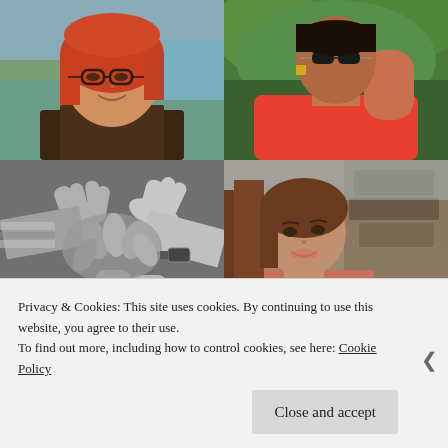[Figure (photo): 2x2 grid of four photos: top-left is a red-haired woman with glasses smiling outdoors near water; top-right is a Black woman in a red/coral top with sunglasses standing outdoors; bottom-left is a black-and-white photo of multiple hands joined together in a circle; bottom-right is a young brown-haired woman taking a selfie outdoors near old stone walls.]
Privacy & Cookies: This site uses cookies. By continuing to use this website, you agree to their use.
To find out more, including how to control cookies, see here: Cookie Policy